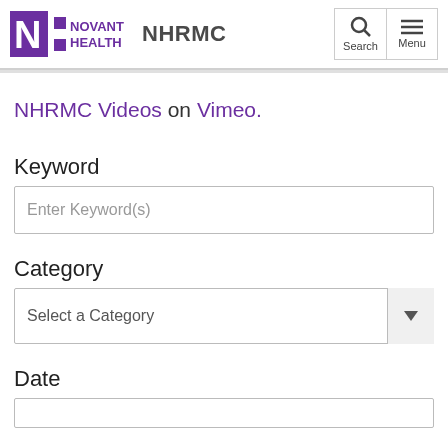Novant Health NHRMC
NHRMC Videos on Vimeo.
Keyword
Enter Keyword(s)
Category
Select a Category
Date